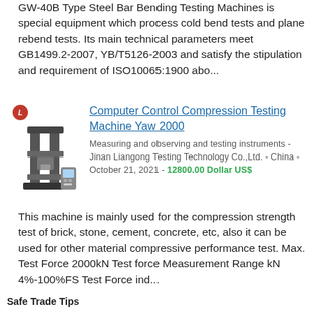GW-40B Type Steel Bar Bending Testing Machines is special equipment which process cold bend tests and plane rebend tests. Its main technical parameters meet GB1499.2-2007, YB/T5126-2003 and satisfy the stipulation and requirement of ISO10065:1900 abo...
[Figure (photo): Photo of a compression testing machine with red logo icon above it]
Computer Control Compression Testing Machine Yaw 2000
Measuring and observing and testing instruments - Jinan Liangong Testing Technology Co.,Ltd. - China - October 21, 2021 - 12800.00 Dollar US$
This machine is mainly used for the compression strength test of brick, stone, cement, concrete, etc, also it can be used for other material compressive performance test. Max. Test Force 2000kN Test force Measurement Range kN 4%-100%FS Test Force ind...
Safe Trade Tips